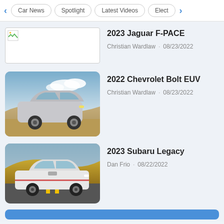< Car News · Spotlight · Latest Videos · Elect>
[Figure (photo): Broken image placeholder for 2023 Jaguar F-PACE thumbnail]
2023 Jaguar F-PACE
Christian Wardlaw · 08/23/2022
[Figure (photo): 2022 Chevrolet Bolt EUV silver SUV parked on sandy beach terrain with cloudy sky background]
2022 Chevrolet Bolt EUV
Christian Wardlaw · 08/23/2022
[Figure (photo): 2023 Subaru Legacy white sedan driving on road with golden hillside in background]
2023 Subaru Legacy
Dan Frio · 08/22/2022